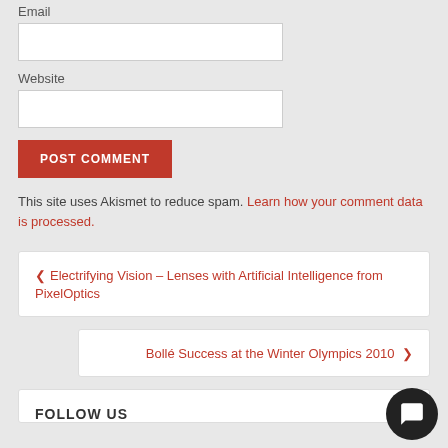Email
Website
POST COMMENT
This site uses Akismet to reduce spam. Learn how your comment data is processed.
Electrifying Vision – Lenses with Artificial Intelligence from PixelOptics
Bollé Success at the Winter Olympics 2010
FOLLOW US